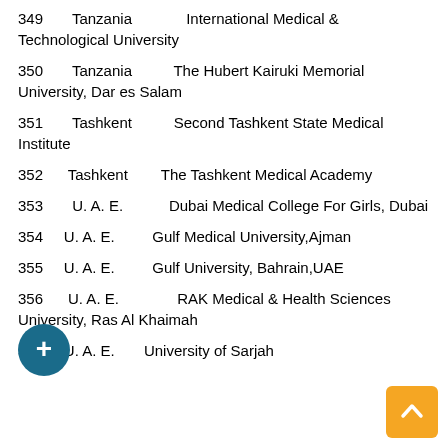349   Tanzania   International Medical & Technological University
350   Tanzania   The Hubert Kairuki Memorial University, Dar es Salam
351   Tashkent   Second Tashkent State Medical Institute
352   Tashkent   The Tashkent Medical Academy
353   U. A. E.   Dubai Medical College For Girls, Dubai
354   U. A. E.   Gulf Medical University, Ajman
355   U. A. E.   Gulf University, Bahrain, UAE
356   U. A. E.   RAK Medical & Health Sciences University, Ras Al Khaimah
357   U. A. E.   University of Sarjah